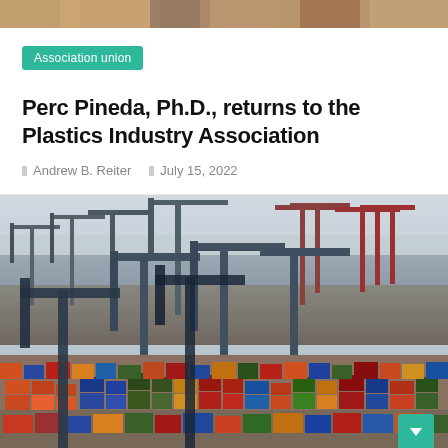[Figure (photo): Decorative image strip at top of page showing a blurred colorful scene]
Association union
Perc Pineda, Ph.D., returns to the Plastics Industry Association
Andrew B. Reiter   July 15, 2022
[Figure (photo): Aerial photograph of a busy shipping container port with large cranes and colorful stacked shipping containers]